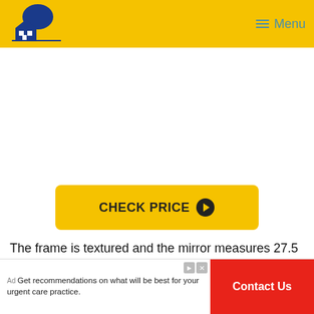HOMENDGARDEN — Menu
[Figure (other): Yellow CHECK PRICE button with right arrow circle icon]
The frame is textured and the mirror measures 27.5 inches by 33.5 inches in size.
But perhaps the best thing about this wall mirror is
[Figure (other): Advertisement banner: Get recommendations on what will be best for your urgent care practice. Contact Us button in red.]